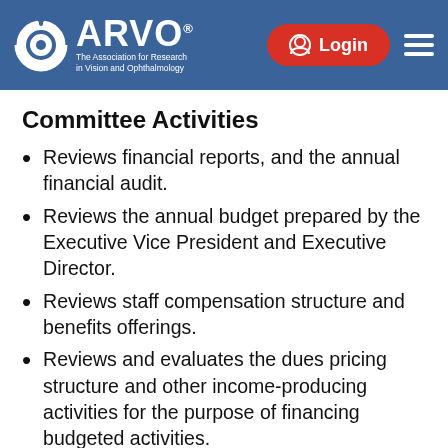ARVO – The Association for Research in Vision and Ophthalmology | Login
Committee Activities
Reviews financial reports, and the annual financial audit.
Reviews the annual budget prepared by the Executive Vice President and Executive Director.
Reviews staff compensation structure and benefits offerings.
Reviews and evaluates the dues pricing structure and other income-producing activities for the purpose of financing budgeted activities.
Reviews periodically the investment